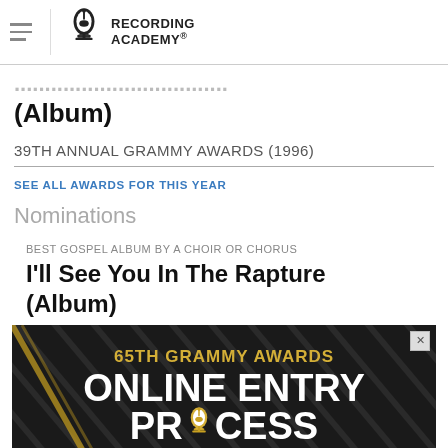Recording Academy
(Album)
39TH ANNUAL GRAMMY AWARDS (1996)
SEE ALL AWARDS FOR THIS YEAR
Nominations
BEST GOSPEL ALBUM BY A CHOIR OR CHORUS
I'll See You In The Rapture (Album)
[Figure (screenshot): 65TH GRAMMY AWARDS ONLINE ENTRY PROCESS advertisement banner]